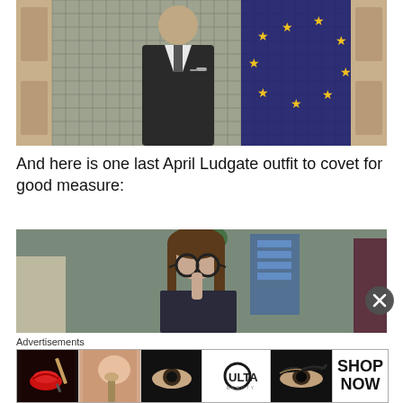[Figure (photo): A person in a dark blazer and white shirt standing behind a glass door with a wire mesh pattern; an EU flag with gold stars on dark blue background is visible behind the glass on the right side.]
And here is one last April Ludgate outfit to covet for good measure:
[Figure (photo): A young woman with long brown hair and round glasses holding a finger to her lip in a thoughtful pose, inside what appears to be an office setting.]
Advertisements
[Figure (other): Advertisement banner strip with beauty/makeup images: red lips with brush, woman with brush, eye with dramatic eye makeup, ULTA Beauty logo, woman with winged eyeliner, and SHOP NOW text.]